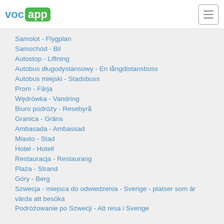[Figure (logo): VocApp logo with 'voc' in blue and 'app' in white on green rounded rectangle background]
Samolot - Flygplan
Samochód - Bil
Autostop - Liftning
Autobus długodystansowy - En långdistansbuss
Autobus miejski - Stadsbuss
Prom - Färja
Wędrówka - Vandring
Biuro podróży - Resebyrå
Granica - Gräns
Ambasada - Ambassad
Miasto - Stad
Hotel - Hotell
Restauracja - Restaurang
Plaża - Strand
Góry - Berg
Szwecja - miejsca do odwiedzenia - Sverige - platser som är värda att besöka
Podróżowanie po Szwecji - Att resa i Sverige